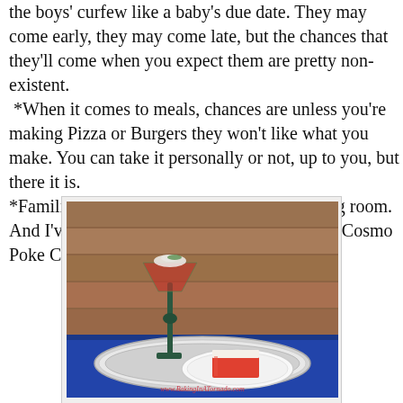the boys' curfew like a baby's due date. They may come early, they may come late, but the chances that they'll come when you expect them are pretty non-existent. *When it comes to meals, chances are unless you're making Pizza or Burgers they won't like what you make. You can take it personally or not, up to you, but there it is. *Familiarize yourself with the bar in the living room. And I've left you a recipe for an "adults only" Cosmo Poke Cake.
[Figure (photo): A martini glass filled with red/orange liquid and garnish, placed on a silver tray alongside a white plate with a slice of red poke cake topped with white frosting. The background shows a brown wooden wall and blue tablecloth. Watermark: www.BakingInATornado.com]